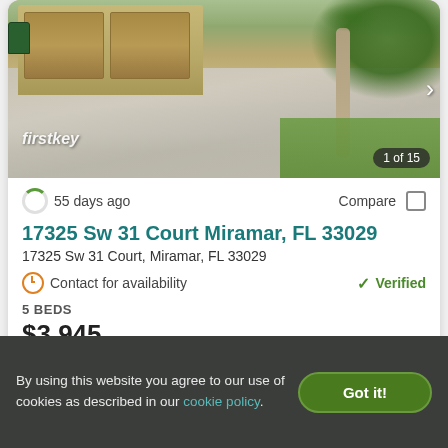[Figure (photo): Exterior photo of a house showing a brick paver driveway with two-car garage with brown garage doors, palm tree, green trash bin, FirstKey Homes watermark, and '1 of 15' counter. Navigation arrow on right.]
55 days ago
Compare
17325 Sw 31 Court Miramar, FL 33029
17325 Sw 31 Court, Miramar, FL 33029
Contact for availability
Verified
5 BEDS
$3,945
View Details
Contact Property
By using this website you agree to our use of cookies as described in our cookie policy.
Got it!